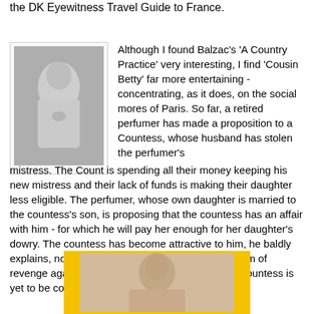the DK Eyewitness Travel Guide to France.
[Figure (photo): Black and white portrait photo of a man (Balzac), shown from chest up, with curly hair, hand on chest, in a framed image layout]
Although I found Balzac's 'A Country Practice' very interesting, I find 'Cousin Betty' far more entertaining - concentrating, as it does, on the social mores of Paris. So far, a retired perfumer has made a proposition to a Countess, whose husband has stolen the perfumer's mistress. The Count is spending all their money keeping his new mistress and their lack of funds is making their daughter less eligible. The perfumer, whose own daughter is married to the countess's son, is proposing that the countess has an affair with him - for which he will pay her enough for her daughter's dowry. The countess has become attractive to him, he baldly explains, not only in her own right, but also as a form of revenge against her husband. Unsurprisingly, the countess is yet to be convinced.
[Figure (photo): Sepia-toned portrait photograph of a person with yellow/golden border frame, showing head and shoulders]